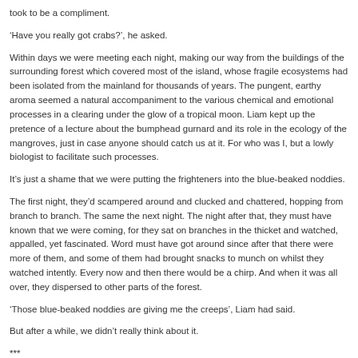took to be a compliment.
‘Have you really got crabs?’, he asked.
Within days we were meeting each night, making our way from the buildings of the surrounding forest which covered most of the island, whose fragile ecosystems had been isolated from the mainland for thousands of years. The pungent, earthy aroma seemed a natural accompaniment to the various chemical and emotional processes in a clearing under the glow of a tropical moon. Liam kept up the pretence of a lecture about the bumphead gurnard and its role in the ecology of the mangroves, just in case anyone should catch us at it. For who was I, but a lowly biologist to facilitate such processes.
It’s just a shame that we were putting the frighteners into the blue-beaked noddies.
The first night, they’d scampered around and clucked and chattered, hopping from branch to branch. The same the next night. The night after that, they must have known that we were coming, for they sat on branches in the thicket and watched, appalled, yet fascinated. Word must have got around since after that there were more of them, and some of them had brought snacks to munch on whilst they watched intently. Every now and then there would be a chirp. And when it was all over, they dispersed to other parts of the forest.
‘Those blue-beaked noddies are giving me the creeps’, Liam had said.
But after a while, we didn’t really think about it.
***